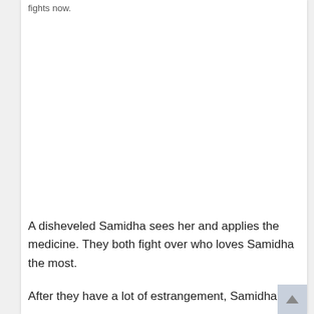fights now.
A disheveled Samidha sees her and applies the medicine. They both fight over who loves Samidha the most.
After they have a lot of estrangement, Samidha